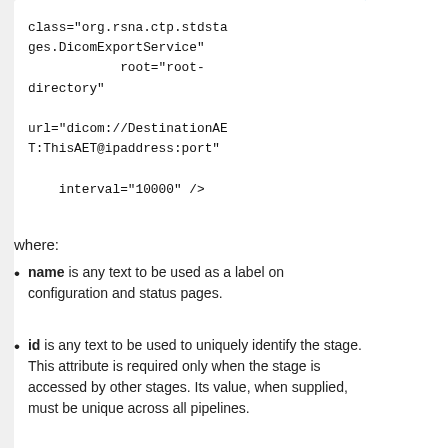class="org.rsna.ctp.stdstages.DicomExportService"
            root="root-directory"

    url="dicom://DestinationAET:ThisAET@ipaddress:port"

    interval="10000" />
where:
name is any text to be used as a label on configuration and status pages.
id is any text to be used to uniquely identify the stage. This attribute is required only when the stage is accessed by other stages. Its value, when supplied, must be unique across all pipelines.